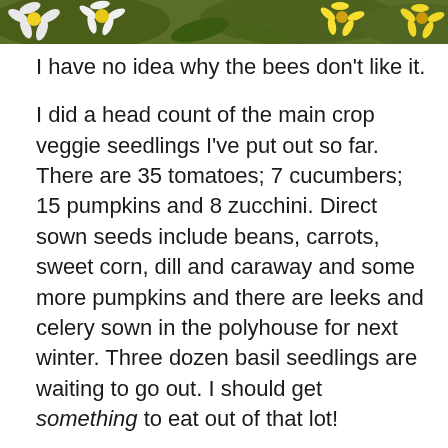[Figure (photo): Top strip of a photo showing daisies and yellow flowers, partial view cropped at top of page]
I have no idea why the bees don't like it.
I did a head count of the main crop veggie seedlings I've put out so far. There are 35 tomatoes; 7 cucumbers; 15 pumpkins and 8 zucchini. Direct sown seeds include beans, carrots, sweet corn, dill and caraway and some more pumpkins and there are leeks and celery sown in the polyhouse for next winter. Three dozen basil seedlings are waiting to go out. I should get something to eat out of that lot!
November saw the beginning of the second year in operation of the solar panels and they continue to be worth their weight in gold. I imported an average of 1.5 kWh per day from the grid and sent an average of 17.3